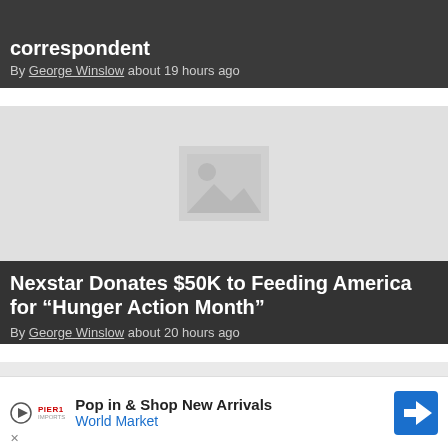By George Winslow about 19 hours ago
[Figure (photo): Article card with dark overlay showing partial headline 'correspondent' and byline]
[Figure (photo): Placeholder image thumbnail with mountain/image icon]
Nexstar Donates $50K to Feeding America for “Hunger Action Month”
By George Winslow about 20 hours ago
[Figure (photo): Bottom article card, mostly cropped]
Pop in & Shop New Arrivals World Market